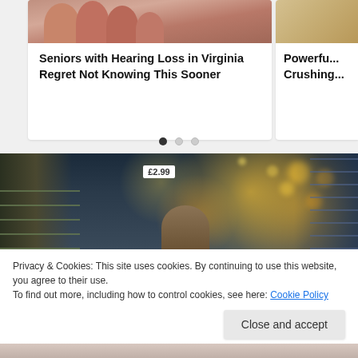[Figure (photo): Carousel card showing a close-up of fingers/hand, paired with article headline about hearing loss]
Seniors with Hearing Loss in Virginia Regret Not Knowing This Sooner
[Figure (photo): Partial right-side carousel card showing sandy/beach texture with headline starting 'Powerfu... Crushing...']
[Figure (photo): Supermarket aisle photo showing store shelves with products, bokeh lights in background, price tag visible, woman browsing]
Privacy & Cookies: This site uses cookies. By continuing to use this website, you agree to their use.
To find out more, including how to control cookies, see here: Cookie Policy
[Figure (photo): Bottom strip of another image, partially visible]